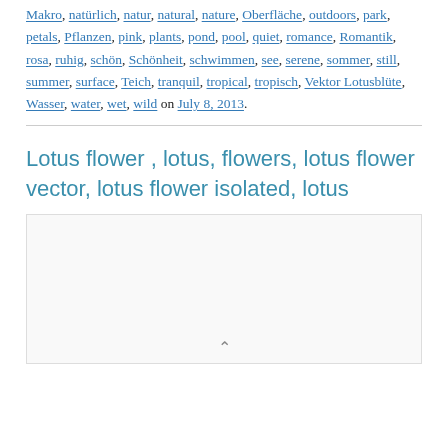Makro, natürlich, natur, natural, nature, Oberfläche, outdoors, park, petals, Pflanzen, pink, plants, pond, pool, quiet, romance, Romantik, rosa, ruhig, schön, Schönheit, schwimmen, see, serene, sommer, still, summer, surface, Teich, tranquil, tropical, tropisch, Vektor Lotusblüte, Wasser, water, wet, wild on July 8, 2013.
Lotus flower , lotus, flowers, lotus flower vector, lotus flower isolated, lotus
[Figure (other): Partially visible image placeholder with a small upward arrow at the bottom center, light gray background with border.]